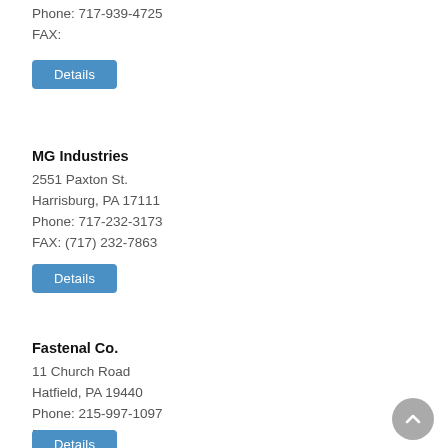Phone: 717-939-4725
FAX:
[Figure (other): Blue 'Details' button]
MG Industries
2551 Paxton St.
Harrisburg, PA 17111
Phone: 717-232-3173
FAX: (717) 232-7863
[Figure (other): Blue 'Details' button]
Fastenal Co.
11 Church Road
Hatfield, PA 19440
Phone: 215-997-1097
FAX:
[Figure (other): Blue 'Details' button]